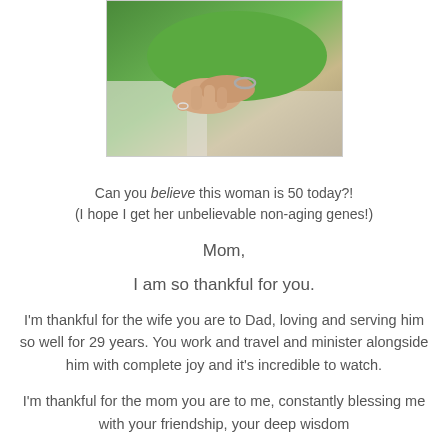[Figure (photo): A photo of two people holding hands, one wearing a green sweater and a bracelet, leaning on a white railing.]
Can you believe this woman is 50 today?!
(I hope I get her unbelievable non-aging genes!)
Mom,
I am so thankful for you.
I'm thankful for the wife you are to Dad, loving and serving him so well for 29 years. You work and travel and minister alongside him with complete joy and it's incredible to watch.
I'm thankful for the mom you are to me, constantly blessing me with your friendship, your deep wisdom